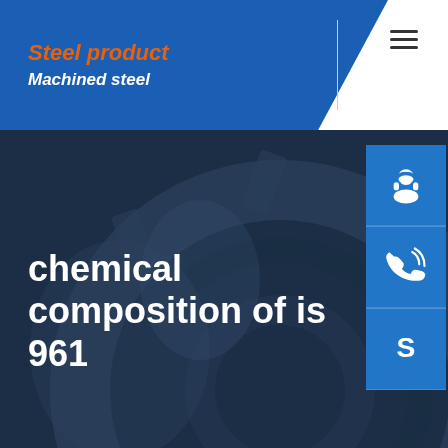Steel product / Machined steel
chemical composition of is 961
[Figure (screenshot): Website header with blue trapezoid logo area showing 'Steel product' in orange italic and 'Machined steel' in white italic, hamburger menu icon, three blue sidebar icon buttons (headset/support, phone, Skype), and a dark steel gear/wheel background photo behind the page title.]
Home  /  chemical composition of is 961